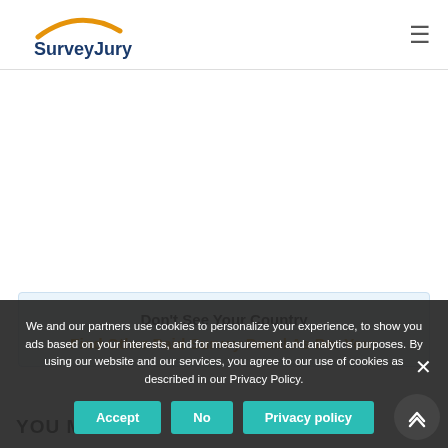SurveyJury
Don't See Your Country
Find Other Paid Survey Panel As Per Your Location
YOU MAY ALSO...
We and our partners use cookies to personalize your experience, to show you ads based on your interests, and for measurement and analytics purposes. By using our website and our services, you agree to our use of cookies as described in our Privacy Policy.
Accept | No | Privacy policy